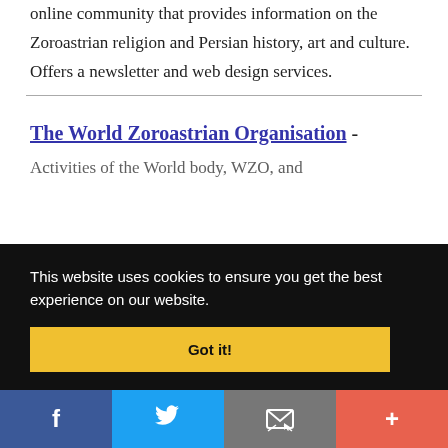online community that provides information on the Zoroastrian religion and Persian history, art and culture. Offers a newsletter and web design services.
The World Zoroastrian Organisation - Activities of the World body, WZO, and
This website uses cookies to ensure you get the best experience on our website.
Got it!